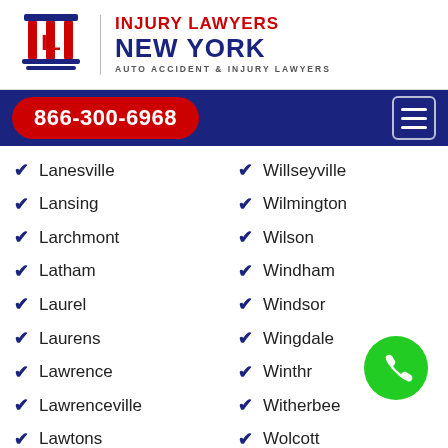[Figure (logo): Injury Lawyers New York logo with column icon and text: INJURY LAWYERS NEW YORK, AUTO ACCIDENT & INJURY LAWYERS]
866-300-6968
Lanesville
Wilmington
Lansing
Wilmington
Larchmont
Wilson
Latham
Windham
Laurel
Windsor
Laurens
Wingdale
Lawrence
Winthrop
Lawrenceville
Witherbee
Lawtons
Wolcott
Le Roy
Woodbourne
Lee Center
Woodbury